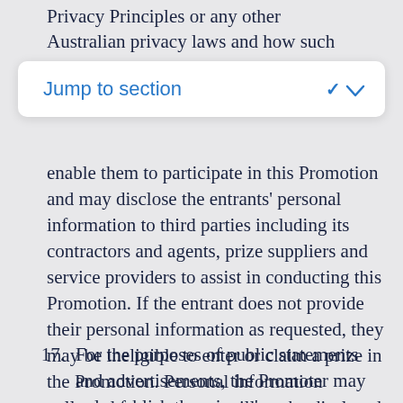Privacy Principles or any other Australian privacy laws and how such complaints will
enable them to participate in this Promotion and may disclose the entrants' personal information to third parties including its contractors and agents, prize suppliers and service providers to assist in conducting this Promotion. If the entrant does not provide their personal information as requested, they may be ineligible to enter or claim a prize in the Promotion. Personal information collected from entrants will not be disclosed to any entity located outside of Australia.
17.  For the purposes of public statements and advertisements, the Promoter may only publish the winner's surname, initial and